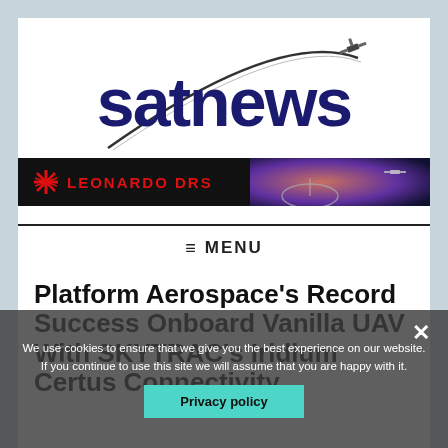[Figure (logo): satnews logo with satellite arc graphic above the text]
[Figure (banner): Leonardo DRS advertisement banner — black background with red starburst logo and red text 'LEONARDO DRS', space/satellite imagery on the right]
≡  MENU
Platform Aerospace's Record Success Onboard Vanilla UAV With SKYTRAC's Iridium Certus Connectivity
We use cookies to ensure that we give you the best experience on our website. If you continue to use this site we will assume that you are happy with it.
Privacy policy